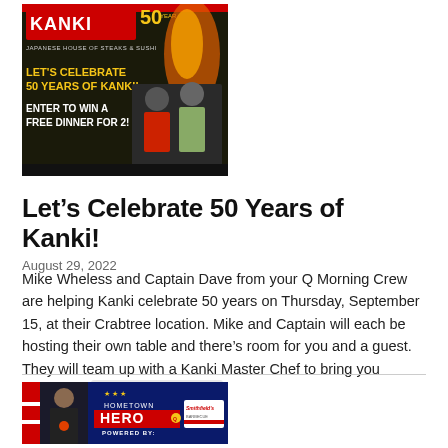[Figure (photo): Kanki 50th anniversary promotional banner — Japanese House of Steaks & Sushi, red and dark background with two people, text: LET'S CELEBRATE 50 YEARS OF KANKI! ENTER TO WIN A FREE DINNER FOR 2!]
Let’s Celebrate 50 Years of Kanki!
August 29, 2022
Mike Wheless and Captain Dave from your Q Morning Crew are helping Kanki celebrate 50 years on Thursday, September 15, at their Crabtree location. Mike and Captain will each be hosting their own table and there’s room for you and a guest. They will team up with a Kanki Master Chef to bring you food,……  Continue Reading
[Figure (photo): Hometown Hero promotional image with a person in dark shirt on left, Hometown Hero logo in center with stars, POWERED BY: Smithfield's text and logo on right, blue background with American flag elements]